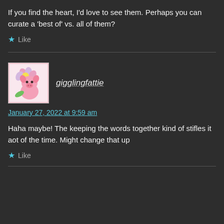If you find the heart, I'd love to see them. Perhaps you can curate a 'best of' vs. all of them?
★ Like
gigglingfattie
January 27, 2022 at 9:59 am
Haha maybe! The keeping the words together kind of stifles it aot of the time. Might change that up
★ Like